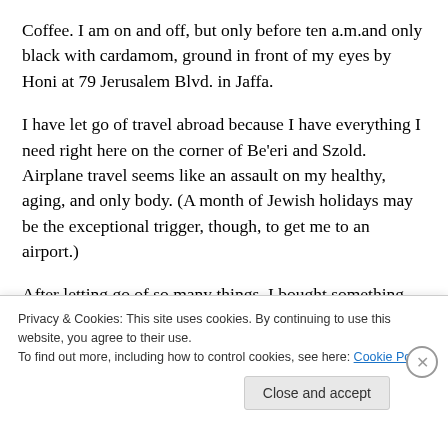Coffee. I am on and off, but only before ten a.m.and only black with cardamom, ground in front of my eyes by Honi at 79 Jerusalem Blvd. in Jaffa.
I have let go of travel abroad because I have everything I need right here on the corner of Be'eri and Szold. Airplane travel seems like an assault on my healthy, aging, and only body. (A month of Jewish holidays may be the exceptional trigger, though, to get me to an airport.)
After letting go of so many things, I bought something that dramatically changed my life: a standing desk. This
Privacy & Cookies: This site uses cookies. By continuing to use this website, you agree to their use.
To find out more, including how to control cookies, see here: Cookie Policy